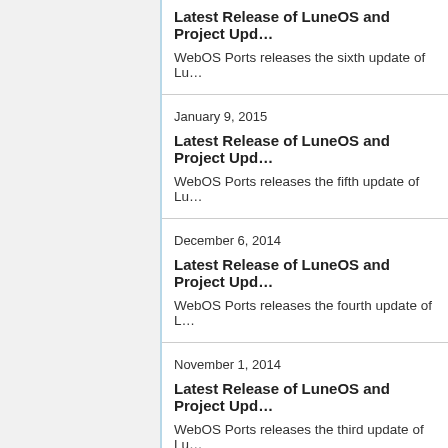Latest Release of LuneOS and Project Upd...
WebOS Ports releases the sixth update of Lu...
January 9, 2015
Latest Release of LuneOS and Project Upd...
WebOS Ports releases the fifth update of Lu...
December 6, 2014
Latest Release of LuneOS and Project Upd...
WebOS Ports releases the fourth update of L...
November 1, 2014
Latest Release of LuneOS and Project Upd...
WebOS Ports releases the third update of Lu...
October 2, 2014
Latest Release of LuneOS and Project Upd...